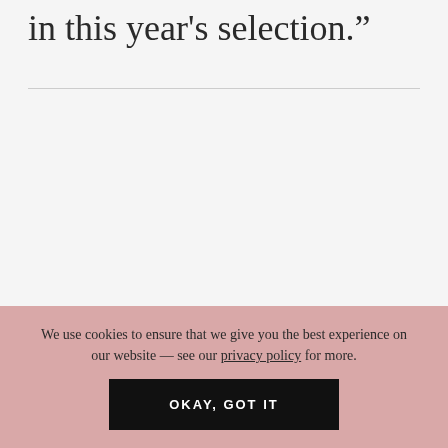in this year’s selection.”
We use cookies to ensure that we give you the best experience on our website — see our privacy policy for more.
OKAY, GOT IT